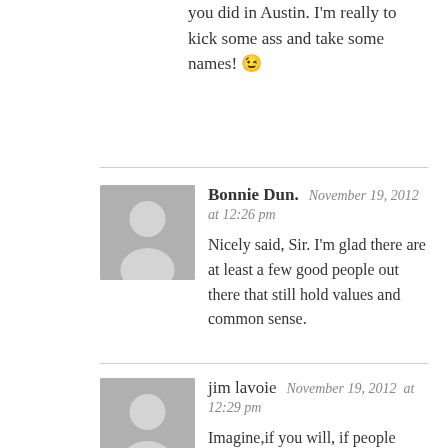you did in Austin. I'm really to kick some ass and take some names! 😉
Bonnie Dun.  November 19, 2012 at 12:26 pm
Nicely said, Sir. I'm glad there are at least a few good people out there that still hold values and common sense.
jim lavoie  November 19, 2012 at 12:29 pm
Imagine,if you will, if people actually embraced the concept and accepted ownership of their own personal BPM. I ran out of